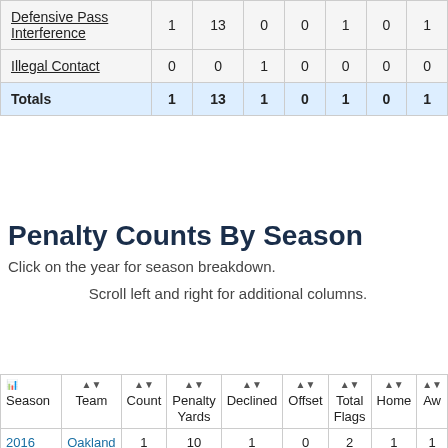|  |  |  |  |  |  |  |  |
| --- | --- | --- | --- | --- | --- | --- | --- |
| Defensive Pass Interference | 1 | 13 | 0 | 0 | 1 | 0 | 1 |
| Illegal Contact | 0 | 0 | 1 | 0 | 0 | 0 | 0 |
| Totals | 1 | 13 | 1 | 0 | 1 | 0 | 1 |
Penalty Counts By Season
Click on the year for season breakdown.
Scroll left and right for additional columns.
| Season | Team | Count | Penalty Yards | Declined | Offset | Total Flags | Home | Aw |
| --- | --- | --- | --- | --- | --- | --- | --- | --- |
| 2016 | Oakland | 1 | 10 | 1 | 0 | 2 | 1 | 1 |